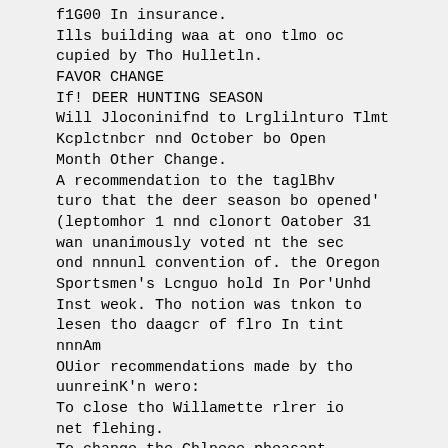f1G00 In insurance.
Ills building waa at ono tlmo oc cupied by Tho Hulletln.
FAVOR CHANGE
If! DEER HUNTING SEASON
Will Jloconinifnd to Lrglilnturo Tlmt Kcplctnbcr nnd October bo Open Month Other Change.
A recommendation to the taglBhv turo that the deer season bo opened' (leptomhor 1 nnd clonort Oatober 31 wan unanimously voted nt the sec ond nnnunl convention of. the Oregon Sportsmen's Lcnguo hold In Por'Unhd Inst weok. Tho notion was tnkon to lesen tho daagcr of flro In tint nnnAm OUior recommendations made by tho uunreinK'n wero:
To close tho Willamette rlrer io net flehing.
To change the Chlneee pheasant law making the bag limit birds In one day, or 10 birds In ceven consec utive days, oach beg to permit if not to oxecod two fomale Chlunco